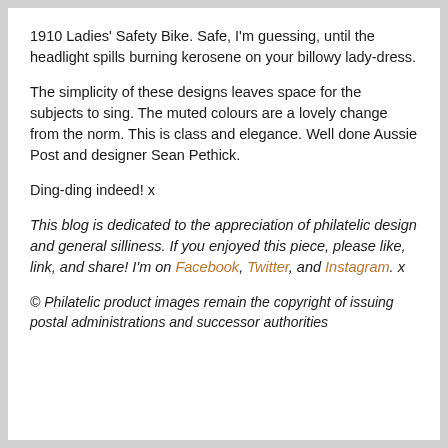1910 Ladies' Safety Bike. Safe, I'm guessing, until the headlight spills burning kerosene on your billowy lady-dress.
The simplicity of these designs leaves space for the subjects to sing. The muted colours are a lovely change from the norm. This is class and elegance. Well done Aussie Post and designer Sean Pethick.
Ding-ding indeed! x
This blog is dedicated to the appreciation of philatelic design and general silliness. If you enjoyed this piece, please like, link, and share! I'm on Facebook, Twitter, and Instagram. x
© Philatelic product images remain the copyright of issuing postal administrations and successor authorities